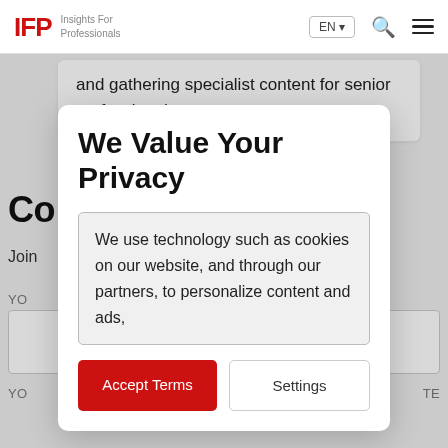IFP Insights For Professionals | EN | Search | Menu
and gathering specialist content for senior professionals.
We Value Your Privacy
We use technology such as cookies on our website, and through our partners, to personalize content and ads,
Accept Terms
Settings